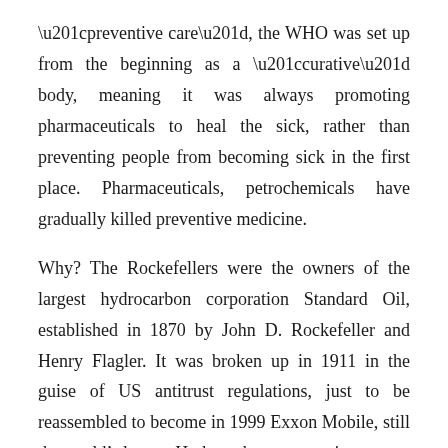“preventive care”, the WHO was set up from the beginning as a “curative” body, meaning it was always promoting pharmaceuticals to heal the sick, rather than preventing people from becoming sick in the first place. Pharmaceuticals, petrochemicals have gradually killed preventive medicine.
Why? The Rockefellers were the owners of the largest hydrocarbon corporation Standard Oil, established in 1870 by John D. Rockefeller and Henry Flagler. It was broken up in 1911 in the guise of US antitrust regulations, just to be reassembled to become in 1999 Exxon Mobile, still the world’s largest Hydrocarbon corporation.
If society collapses, you can bet that the foods the